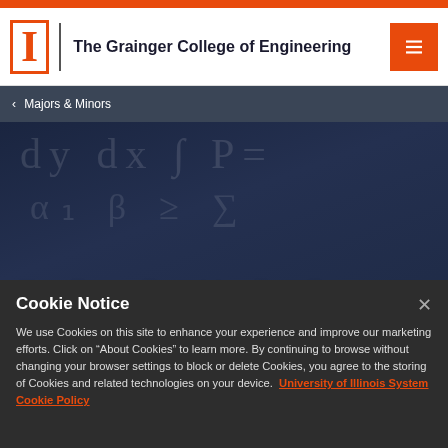The Grainger College of Engineering
< Majors & Minors
[Figure (screenshot): Hero image showing mathematical equations written on a chalkboard, overlaid with dark blue tint]
Engineering Mechanics Curriculum Map Prior to Fall
Cookie Notice
We use Cookies on this site to enhance your experience and improve our marketing efforts. Click on “About Cookies” to learn more. By continuing to browse without changing your browser settings to block or delete Cookies, you agree to the storing of Cookies and related technologies on your device.
University of Illinois System Cookie Policy